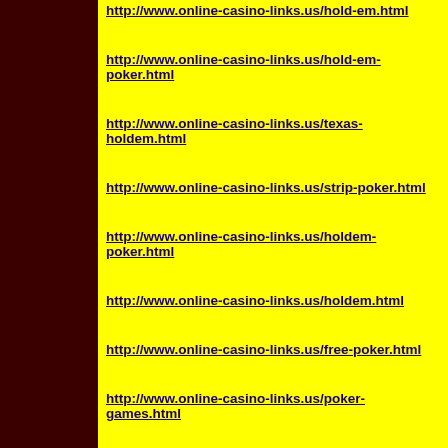http://www.online-casino-links.us/hold-em.html
http://www.online-casino-links.us/hold-em-poker.html
http://www.online-casino-links.us/texas-holdem.html
http://www.online-casino-links.us/strip-poker.html
http://www.online-casino-links.us/holdem-poker.html
http://www.online-casino-links.us/holdem.html
http://www.online-casino-links.us/free-poker.html
http://www.online-casino-links.us/poker-games.html
http://www.online-casino-links.us/free-online-poker.html